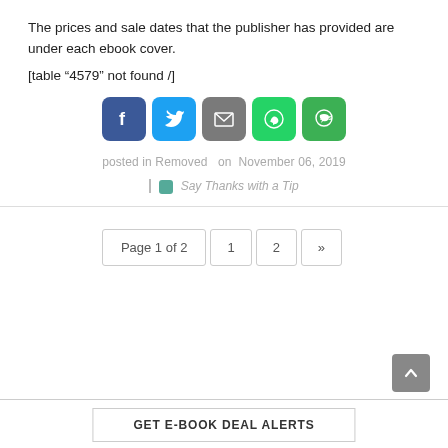The prices and sale dates that the publisher has provided are under each ebook cover.
[table “4579” not found /]
[Figure (infographic): Row of five social share buttons: Facebook (blue), Twitter (light blue), Email (grey), WhatsApp (green), SMS (green)]
posted in Removed  on  November 06, 2019
Say Thanks with a Tip
Page 1 of 2  1  2  »
GET E-BOOK DEAL ALERTS